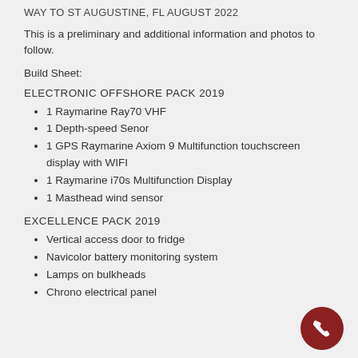WAY TO ST AUGUSTINE, FL AUGUST 2022
This is a preliminary and additional information and photos to follow.
Build Sheet:
ELECTRONIC OFFSHORE PACK 2019
1 Raymarine Ray70 VHF
1 Depth-speed Senor
1 GPS Raymarine Axiom 9 Multifunction touchscreen display with WIFI
1 Raymarine i70s Multifunction Display
1 Masthead wind sensor
EXCELLENCE PACK 2019
Vertical access door to fridge
Navicolor battery monitoring system
Lamps on bulkheads
Chrono electrical panel